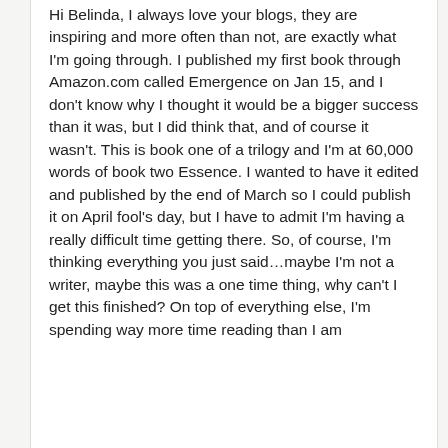Hi Belinda, I always love your blogs, they are inspiring and more often than not, are exactly what I'm going through. I published my first book through Amazon.com called Emergence on Jan 15, and I don't know why I thought it would be a bigger success than it was, but I did think that, and of course it wasn't. This is book one of a trilogy and I'm at 60,000 words of book two Essence. I wanted to have it edited and published by the end of March so I could publish it on April fool's day, but I have to admit I'm having a really difficult time getting there. So, of course, I'm thinking everything you just said…maybe I'm not a writer, maybe this was a one time thing, why can't I get this finished? On top of everything else, I'm spending way more time reading than I am